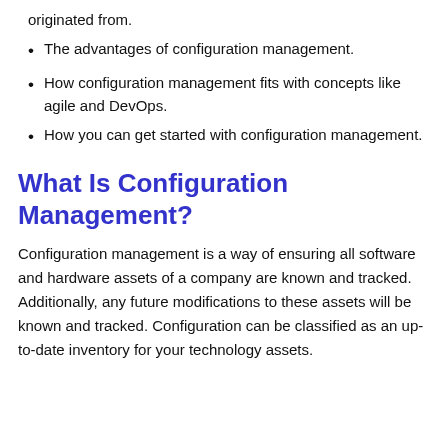originated from.
The advantages of configuration management.
How configuration management fits with concepts like agile and DevOps.
How you can get started with configuration management.
What Is Configuration Management?
Configuration management is a way of ensuring all software and hardware assets of a company are known and tracked. Additionally, any future modifications to these assets will be known and tracked. Configuration can be classified as an up-to-date inventory for your technology assets.